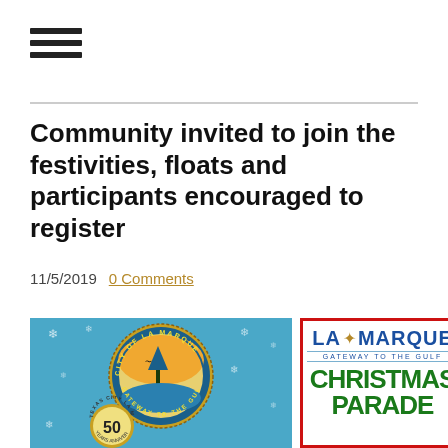☰ (hamburger menu icon)
Community invited to join the festivities, floats and participants encouraged to register
11/5/2019   0 Comments
[Figure (illustration): La Marque City seal/logo on blue snowflake background with Texas City La Marque 50 Years Anniversary badge, alongside La Marque Christmas Parade promotional card with red border, blue text 'LA MARQUE GATEWAY TO THE GULF' and green text 'CHRISTMAS PARADE']